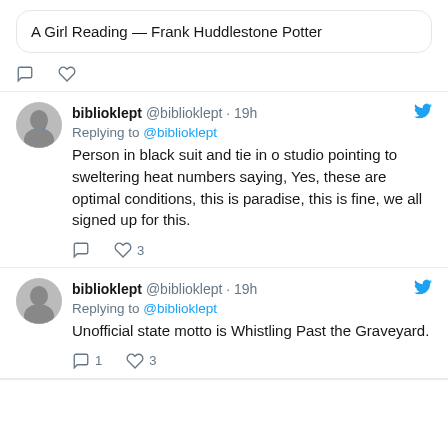A Girl Reading — Frank Huddlestone Potter
biblioklept @biblioklept · 19h
Replying to @biblioklept
Person in black suit and tie in o studio pointing to sweltering heat numbers saying, Yes, these are optimal conditions, this is paradise, this is fine, we all signed up for this.
3
biblioklept @biblioklept · 19h
Replying to @biblioklept
Unofficial state motto is Whistling Past the Graveyard.
1   3